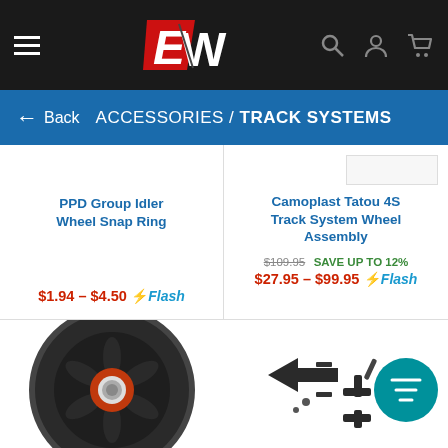[Figure (logo): EW logo with red and white stylized letters on dark background header with hamburger menu, search, user, and cart icons]
ACCESSORIES / TRACK SYSTEMS
PPD Group Idler Wheel Snap Ring
$1.94 - $4.50 ⚡Flash
Camoplast Tatou 4S Track System Wheel Assembly
$109.95 SAVE UP TO 12% $27.95 - $99.95 ⚡Flash
[Figure (photo): Dark grey idler wheel with orange bearing center, star-shaped hub]
[Figure (photo): Black track system hardware parts kit with teal filter icon overlay]